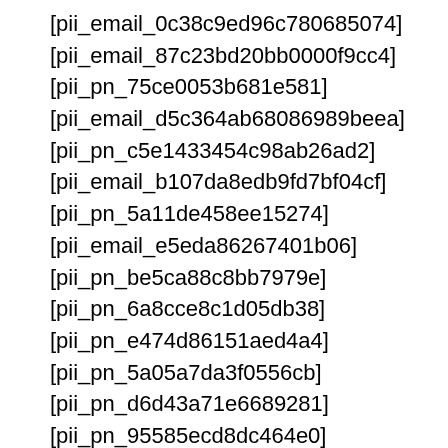[pii_email_0c38c9ed96c780685074]
[pii_email_87c23bd20bb0000f9cc4]
[pii_pn_75ce0053b681e581]
[pii_email_d5c364ab68086989beea]
[pii_pn_c5e1433454c98ab26ad2]
[pii_email_b107da8edb9fd7bf04cf]
[pii_pn_5a11de458ee15274]
[pii_email_e5eda86267401b06]
[pii_pn_be5ca88c8bb7979e]
[pii_pn_6a8cce8c1d05db38]
[pii_pn_e474d86151aed4a4]
[pii_pn_5a05a7da3f0556cb]
[pii_pn_d6d43a71e6689281]
[pii_pn_95585ecd8dc464e0]
[pii_pn_30665e9954fae028]
[pii_pn_b6d036ef34ea8c62]